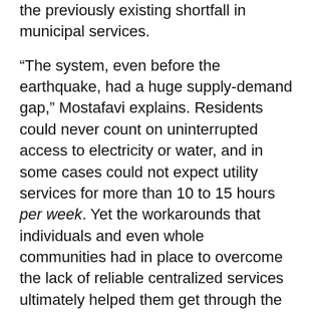the previously existing shortfall in municipal services.
“The system, even before the earthquake, had a huge supply-demand gap,” Mostafavi explains. Residents could never count on uninterrupted access to electricity or water, and in some cases could not expect utility services for more than 10 to 15 hours per week. Yet the workarounds that individuals and even whole communities had in place to overcome the lack of reliable centralized services ultimately helped them get through the aftermath of the cataclysm.
“The social system adapted,” Mostafavi explains of the accommodations people had made for years. For example, homeowners had installed rooftop water collection and storage tanks and connected their dwellings to generators to run lights and essential appliances. Institutions likewise had their plans in place. An area hospital, for example, had long held contracts with…